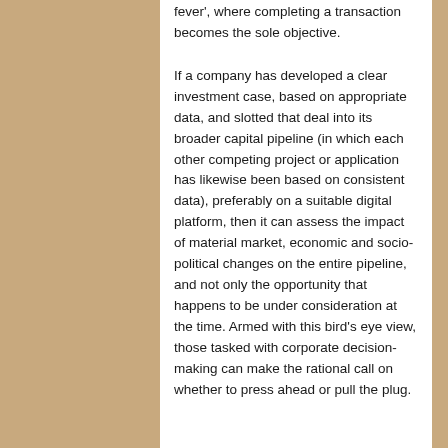fever', where completing a transaction becomes the sole objective.
If a company has developed a clear investment case, based on appropriate data, and slotted that deal into its broader capital pipeline (in which each other competing project or application has likewise been based on consistent data), preferably on a suitable digital platform, then it can assess the impact of material market, economic and socio-political changes on the entire pipeline, and not only the opportunity that happens to be under consideration at the time. Armed with this bird's eye view, those tasked with corporate decision-making can make the rational call on whether to press ahead or pull the plug.